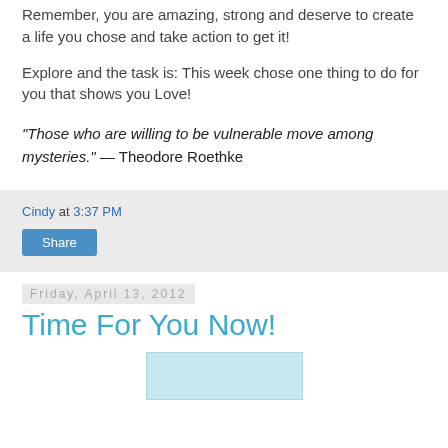Remember, you are amazing, strong and deserve to create a life you chose and take action to get it!
Explore and the task is: This week chose one thing to do for you that shows you Love!
"Those who are willing to be vulnerable move among mysteries."  — Theodore Roethke
Cindy at 3:37 PM
Share
Friday, April 13, 2012
Time For You Now!
[Figure (photo): Partial image visible at bottom of page]